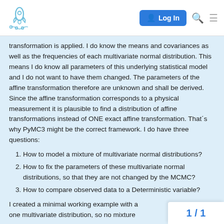[Figure (logo): Discourse rocket logo in top-left of navigation bar]
transformation is applied. I do know the means and covariances as well as the frequencies of each multivariate normal distribution. This means I do know all parameters of this underlying statistical model and I do not want to have them changed. The parameters of the affine transformation therefore are unknown and shall be derived. Since the affine transformation corresponds to a physical measurement it is plausible to find a distribution of affine transformations instead of ONE exact affine transformation. That´s why PyMC3 might be the correct framework. I do have three questions:
How to model a mixture of multivariate normal distributions?
How to fix the parameters of these multivariate normal distributions, so that they are not changed by the MCMC?
How to compare observed data to a Deterministic variable?
I created a minimal working example with a one multivariate distribution, so no mixture
1 / 1